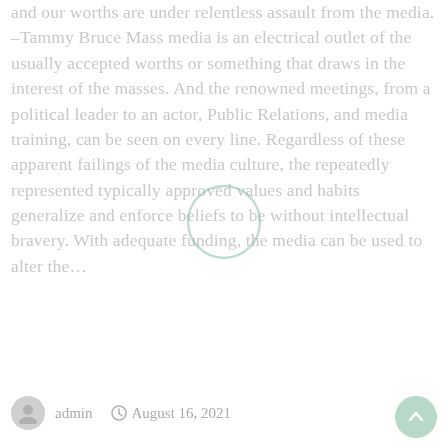and our worths are under relentless assault from the media. –Tammy Bruce Mass media is an electrical outlet of the usually accepted worths or something that draws in the interest of the masses. And the renowned meetings, from a political leader to an actor, Public Relations, and media training, can be seen on every line. Regardless of these apparent failings of the media culture, the repeatedly represented typically approved values and habits generalize and enforce beliefs to be without intellectual bravery. With adequate funding, the media can be used to alter the…
admin  August 16, 2021